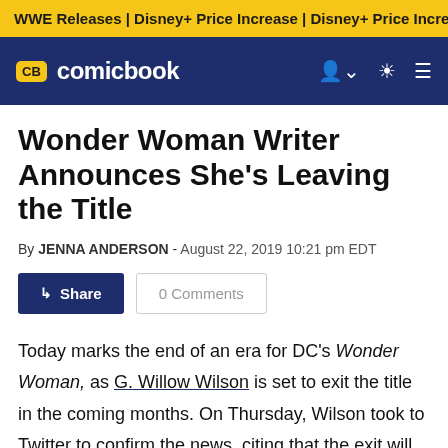WWE Releases | Disney+ Price Increase | Disney+ Price Incre
CB comicbook
Wonder Woman Writer Announces She's Leaving the Title
By JENNA ANDERSON - August 22, 2019 10:21 pm EDT
Today marks the end of an era for DC's Wonder Woman, as G. Willow Wilson is set to exit the title in the coming months. On Thursday, Wilson took to Twitter to confirm the news, citing that the exit will be so she can schedule out time for a "bucket-list-dream-project".